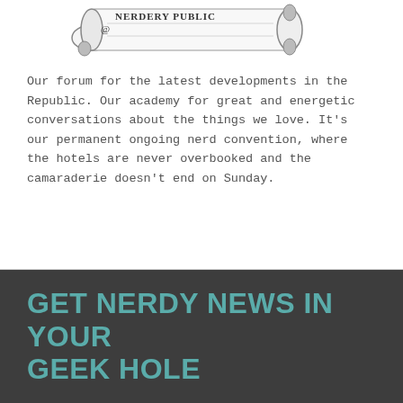[Figure (logo): Nerdery Publications logo — a rolled scroll with the text 'Nerdery Public...' visible on it]
Our forum for the latest developments in the Republic. Our academy for great and energetic conversations about the things we love. It's our permanent ongoing nerd convention, where the hotels are never overbooked and the camaraderie doesn't end on Sunday.
GET NERDY NEWS IN YOUR GEEK HOLE